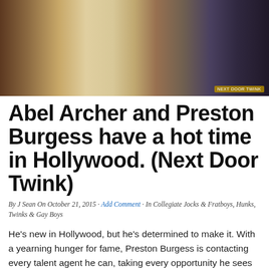[Figure (photo): Photo showing partial view of two people, one in blue underwear, on a couch/floor setting]
Abel Archer and Preston Burgess have a hot time in Hollywood. (Next Door Twink)
By J Sean On October 21, 2015 · Add Comment · In Collegiate Jocks & Fratboys, Hunks, Twinks & Gay Boys
He's new in Hollywood, but he's determined to make it. With a yearning hunger for fame, Preston Burgess is contacting every talent agent he can, taking every opportunity he sees to be seen. Today, he's made a call to a casting director named Abel Archer. Preston